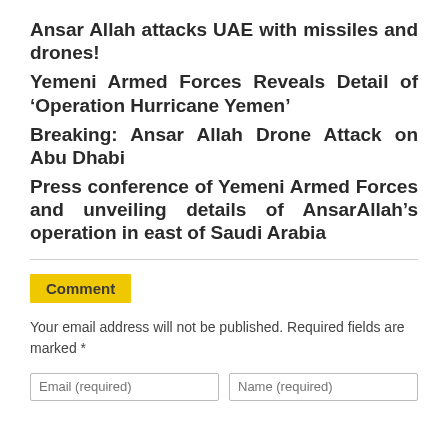Ansar Allah attacks UAE with missiles and drones!
Yemeni Armed Forces Reveals Detail of ‘Operation Hurricane Yemen’
Breaking: Ansar Allah Drone Attack on Abu Dhabi
Press conference of Yemeni Armed Forces and unveiling details of AnsarAllah’s operation in east of Saudi Arabia
Comment
Your email address will not be published. Required fields are marked *
Email (required)   Name (required)